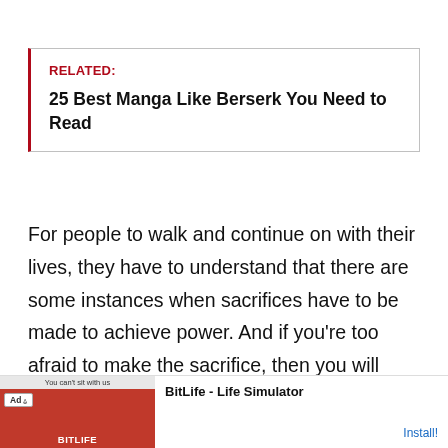RELATED:
25 Best Manga Like Berserk You Need to Read
For people to walk and continue on with their lives, they have to understand that there are some instances when sacrifices have to be made to achieve power. And if you're too afraid to make the sacrifice, then you will never even be able to walk towards where you want to be in your life.
[Figure (other): Advertisement banner for BitLife - Life Simulator app with red background and install button]